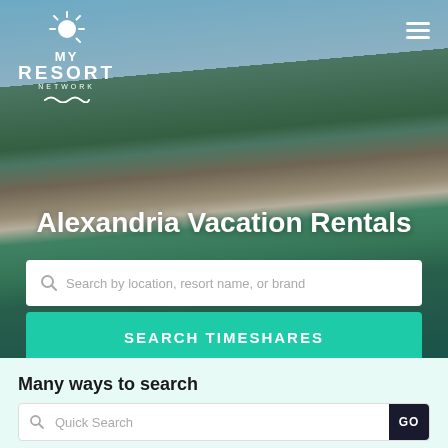[Figure (screenshot): Hero background photo of a tropical resort with palm trees, a pool, and a large building under blue skies]
Alexandria Vacation Rentals
Search by location, resort name, or brand
SEARCH TIMESHARES
Many ways to search
Quick Search